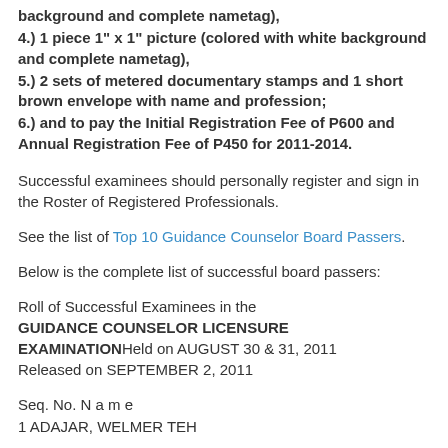background and complete nametag),
4.) 1 piece 1" x 1" picture (colored with white background and complete nametag),
5.) 2 sets of metered documentary stamps and 1 short brown envelope with name and profession;
6.) and to pay the Initial Registration Fee of P600 and Annual Registration Fee of P450 for 2011-2014.
Successful examinees should personally register and sign in the Roster of Registered Professionals.
See the list of Top 10 Guidance Counselor Board Passers.
Below is the complete list of successful board passers:
Roll of Successful Examinees in the GUIDANCE COUNSELOR LICENSURE EXAMINATIONHeld on AUGUST 30 & 31, 2011 Released on SEPTEMBER 2, 2011
Seq. No. N a m e
1 ADAJAR, WELMER TEH